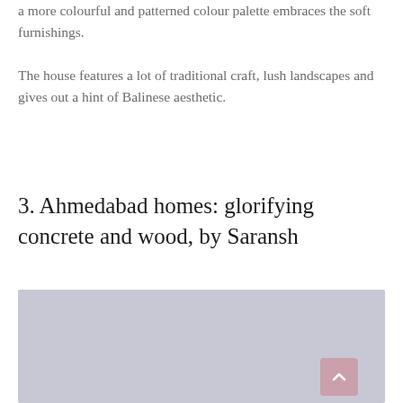a more colourful and patterned colour palette embraces the soft furnishings.
The house features a lot of traditional craft, lush landscapes and gives out a hint of Balinese aesthetic.
3. Ahmedabad homes: glorifying concrete and wood, by Saransh
[Figure (photo): A light grey/lavender image placeholder for an Ahmedabad home interior photo. A pink scroll-to-top button is visible in the bottom-right corner.]